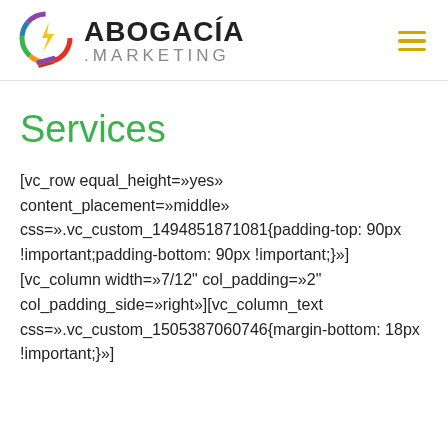ABOGACÍA .MARKETING
Services
[vc_row equal_height=»yes» content_placement=»middle» css=».vc_custom_1494851871081{padding-top: 90px !important;padding-bottom: 90px !important;}»][vc_column width=»7/12" col_padding=»2" col_padding_side=»right»][vc_column_text css=».vc_custom_1505387060746{margin-bottom: 18px !important;}»]